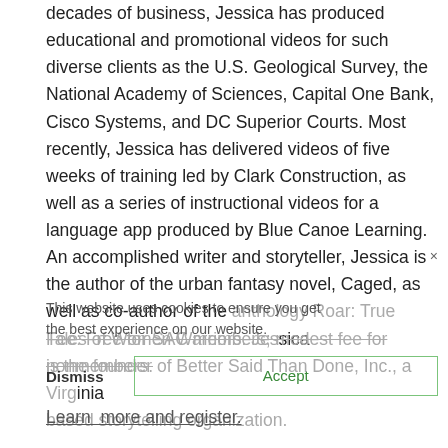decades of business, Jessica has produced educational and promotional videos for such diverse clients as the U.S. Geological Survey, the National Academy of Sciences, Capital One Bank, Cisco Systems, and DC Superior Courts. Most recently, Jessica has delivered videos of five weeks of training led by Clark Construction, as well as a series of instructional videos for a language app produced by Blue Canoe Learning. An accomplished writer and storyteller, Jessica is the author of the urban fantasy novel, Caged, as well as co-author of the anthology Roar: True Tales of Women Warriors. Jessica is the founder of Better Said Than Done, Inc., a Virginia based storytelling organization.
This website uses cookies to ensure you get the best experience on our website.
Fee: Free for SAC members; modest fee for nonmembers.
Learn  more and register.